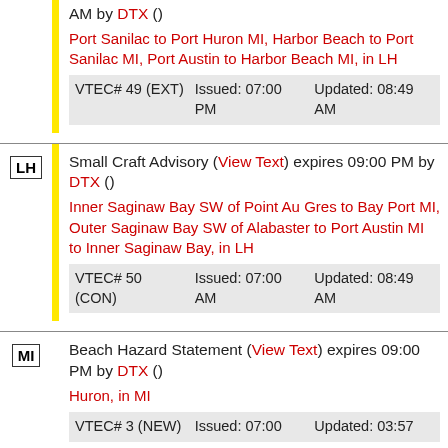AM by DTX ()
Port Sanilac to Port Huron MI, Harbor Beach to Port Sanilac MI, Port Austin to Harbor Beach MI, in LH
| VTEC | Issued | Updated |
| --- | --- | --- |
| VTEC# 49 (EXT) | Issued: 07:00 PM | Updated: 08:49 AM |
Small Craft Advisory (View Text) expires 09:00 PM by DTX ()
Inner Saginaw Bay SW of Point Au Gres to Bay Port MI, Outer Saginaw Bay SW of Alabaster to Port Austin MI to Inner Saginaw Bay, in LH
| VTEC | Issued | Updated |
| --- | --- | --- |
| VTEC# 50 (CON) | Issued: 07:00 AM | Updated: 08:49 AM |
Beach Hazard Statement (View Text) expires 09:00 PM by DTX ()
Huron, in MI
VTEC# 3 (NEW) Issued: 07:00  Updated: 03:57